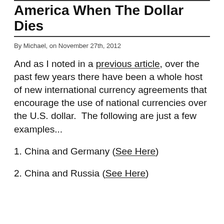America When The Dollar Dies
By Michael, on November 27th, 2012
And as I noted in a previous article, over the past few years there have been a whole host of new international currency agreements that encourage the use of national currencies over the U.S. dollar.  The following are just a few examples...
1. China and Germany (See Here)
2. China and Russia (See Here)